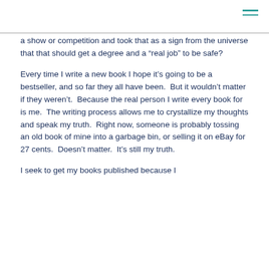a show or competition and took that as a sign from the universe that that should get a degree and a “real job” to be safe?
Every time I write a new book I hope it’s going to be a bestseller, and so far they all have been.  But it wouldn’t matter if they weren’t.  Because the real person I write every book for is me.  The writing process allows me to crystallize my thoughts and speak my truth.  Right now, someone is probably tossing an old book of mine into a garbage bin, or selling it on eBay for 27 cents.  Doesn’t matter.  It’s still my truth.
I seek to get my books published because I